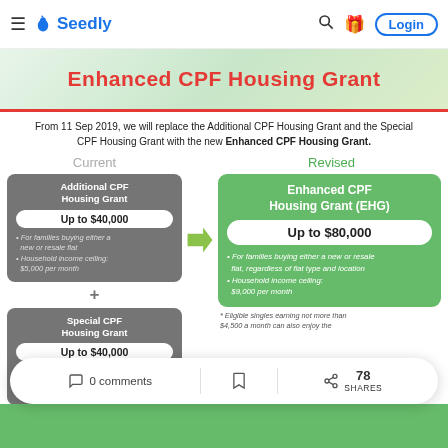Seedly — Login
[Figure (infographic): Enhanced CPF Housing Grant banner with red text on green background]
From 11 Sep 2019, we will replace the Additional CPF Housing Grant and the Special CPF Housing Grant with the new Enhanced CPF Housing Grant.
[Figure (infographic): Comparison infographic: Current (Additional CPF Housing Grant Up to $40,000 + Special CPF Housing Grant Up to $40,000) vs Revised (Enhanced CPF Housing Grant EHG Up to $80,000). For families buying either a new or resale flat, regardless of flat type and location. Household income ceiling: $9,000 per month. Eligible singles earning not more than $4,500 a month can also enjoy the grant.]
0 comments  78 SHARES